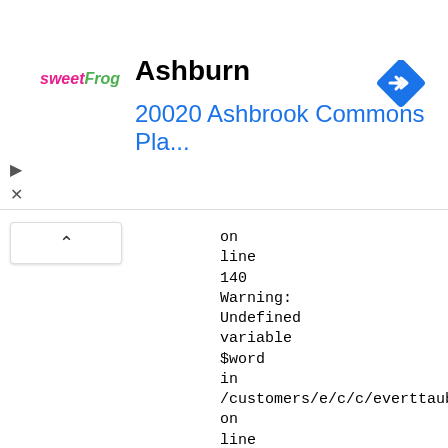[Figure (screenshot): sweetFrog logo with pink and green text]
Ashburn
20020 Ashbrook Commons Pla...
[Figure (other): Blue diamond navigation/directions icon with right-turn arrow]
▷
✕
∧
on
line
140
Warning:
Undefined
variable
$word
in
/customers/e/c/c/everttaube.info/httpd.w
on
line
140
Warning:
Undefined
variable
$word
in
/customers/e/c/c/everttaube.info/httpd.w
on
line
140
Warning:
Undefined
variable